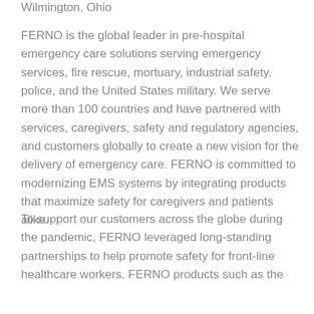Wilmington, Ohio
FERNO is the global leader in pre-hospital emergency care solutions serving emergency services, fire rescue, mortuary, industrial safety, police, and the United States military. We serve more than 100 countries and have partnered with services, caregivers, safety and regulatory agencies, and customers globally to create a new vision for the delivery of emergency care. FERNO is committed to modernizing EMS systems by integrating products that maximize safety for caregivers and patients alike.
To support our customers across the globe during the pandemic, FERNO leveraged long-standing partnerships to help promote safety for front-line healthcare workers. FERNO products such as the [continues...]